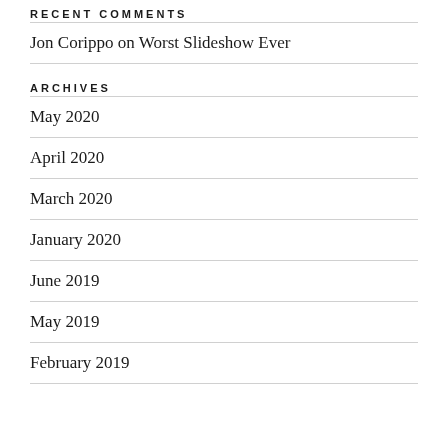RECENT COMMENTS
Jon Corippo on Worst Slideshow Ever
ARCHIVES
May 2020
April 2020
March 2020
January 2020
June 2019
May 2019
February 2019